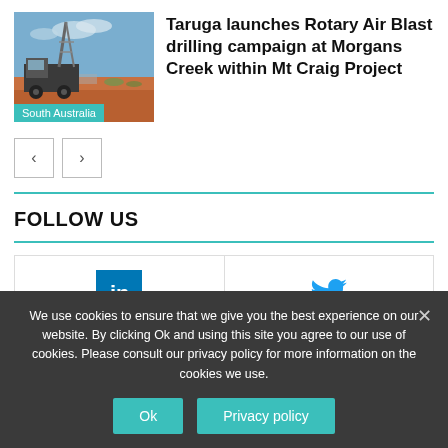[Figure (photo): Drilling rig truck in an arid Australian landscape with blue sky, red/orange soil]
Taruga launches Rotary Air Blast drilling campaign at Morgans Creek within Mt Craig Project
South Australia
FOLLOW US
[Figure (infographic): LinkedIn logo icon (blue square with 'in')]
17,166
[Figure (infographic): Twitter bird logo icon (light blue)]
6,851
We use cookies to ensure that we give you the best experience on our website. By clicking Ok and using this site you agree to our use of cookies. Please consult our privacy policy for more information on the cookies we use.